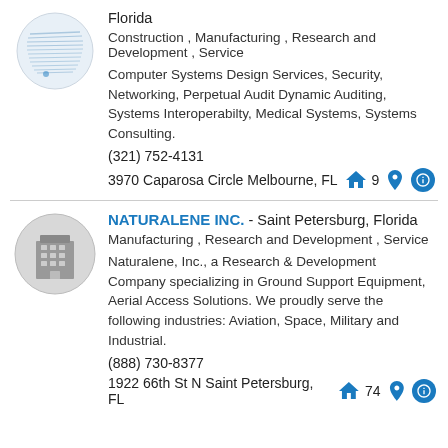[Figure (logo): Circular logo with abstract horizontal lines pattern]
Florida
Construction , Manufacturing , Research and Development , Service
Computer Systems Design Services, Security, Networking, Perpetual Audit Dynamic Auditing, Systems Interoperabilty, Medical Systems, Systems Consulting.
(321) 752-4131
3970 Caparosa Circle Melbourne, FL 9
[Figure (logo): Gray building/office icon]
NATURALENE INC. - Saint Petersburg, Florida
Manufacturing , Research and Development , Service
Naturalene, Inc., a Research & Development Company specializing in Ground Support Equipment, Aerial Access Solutions. We proudly serve the following industries: Aviation, Space, Military and Industrial.
(888) 730-8377
1922 66th St N Saint Petersburg, FL 74